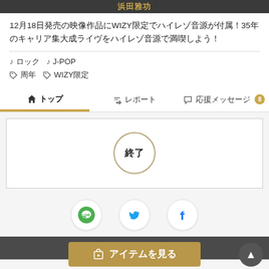浜田雅功
12月18日発売の映像作品にWIZY限定でハイレゾ音源が付属！35年のキャリア集大成ライヴをハイレゾ音源で満喫しよう！
♪ ロック　♪ J-POP
🏷 周年　🏷 WIZY限定
🏠 トップ　📢 レポート　💬 応援メッセージ 8
[Figure (other): Circular badge showing 終了 (Ended) with gold border ring]
[Figure (infographic): Social share buttons: LINE (green), Twitter (blue), Facebook (blue)]
🗒 プロジェクト概要
🎁 アイテムを見る